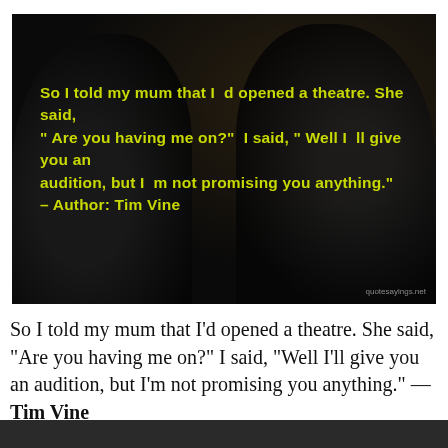[Figure (photo): Dark dramatic photo of figures in shadow with yellow-green bold quote text overlay. Quote reads: 'So I told my mum that I d opened a theatre. She said, "Are you having me on?" I said, "Well I ll give you an audition, but I m not promising you anything." - Author: Tim Vine'. Watermark reads quotesayings.net in bottom right.]
So I told my mum that I'd opened a theatre. She said, "Are you having me on?" I said, "Well I'll give you an audition, but I'm not promising you anything." — Tim Vine